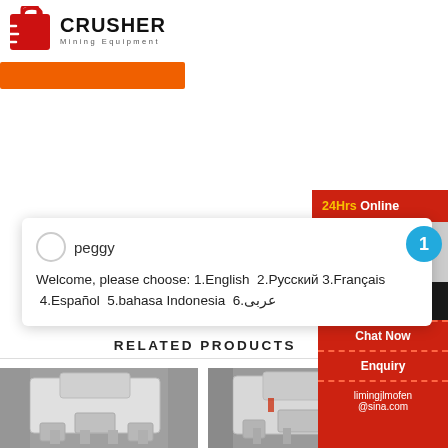[Figure (logo): Crusher Mining Equipment logo with red bag icon and bold CRUSHER text]
[Figure (screenshot): Orange navigation/button bar below header]
24Hrs Online
peggy
Welcome, please choose: 1.English 2.Русский 3.Français 4.Español 5.bahasa Indonesia 6.عربى
RELATED PRODUCTS
[Figure (photo): Industrial VSI crusher machine, white/grey, in workshop setting]
[Figure (photo): Industrial crusher machine, light grey, in workshop setting]
Need
& sugg...
Chat Now
Enquiry
limingjlmofen@sina.com